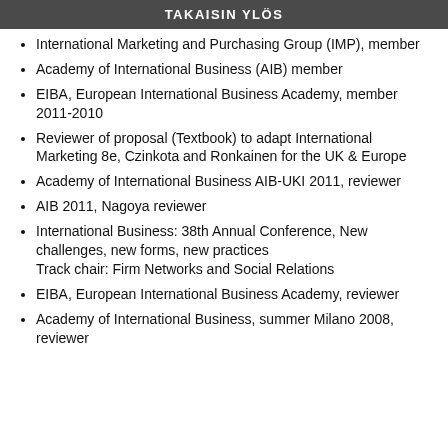TAKAISIN YLÖS
International Marketing and Purchasing Group (IMP), member
Academy of International Business (AIB) member
EIBA, European International Business Academy, member 2011-2010
Reviewer of proposal (Textbook) to adapt International Marketing 8e, Czinkota and Ronkainen for the UK & Europe
Academy of International Business AIB-UKI 2011, reviewer
AIB 2011, Nagoya reviewer
International Business: 38th Annual Conference, New challenges, new forms, new practices
Track chair: Firm Networks and Social Relations
EIBA, European International Business Academy, reviewer
Academy of International Business, summer Milano 2008, reviewer